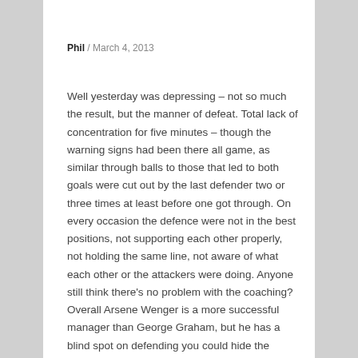Phil / March 4, 2013
Well yesterday was depressing – not so much the result, but the manner of defeat. Total lack of concentration for five minutes – though the warning signs had been there all game, as similar through balls to those that led to both goals were cut out by the last defender two or three times at least before one got through. On every occasion the defence were not in the best positions, not supporting each other properly, not holding the same line, not aware of what each other or the attackers were doing. Anyone still think there's no problem with the coaching? Overall Arsene Wenger is a more successful manager than George Graham, but he has a blind spot on defending you could hide the Empire State in. GG would have the players out on the training ground every day from now till May after a performance like that. And don't bother quoting statistics about total numbers of goals conceded or any other crap. Arsenal have talented and